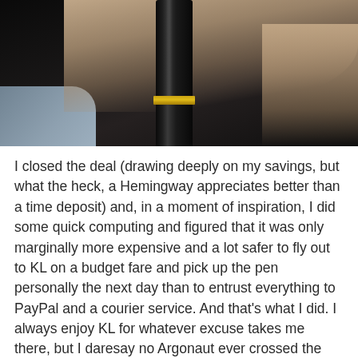[Figure (photo): Close-up photograph of a hand holding a black and gold pen or cylindrical object. The pen appears to be dark/black with a gold ring or band around it. The background shows gray/blue fabric.]
I closed the deal (drawing deeply on my savings, but what the heck, a Hemingway appreciates better than a time deposit) and, in a moment of inspiration, I did some quick computing and figured that it was only marginally more expensive and a lot safer to fly out to KL on a budget fare and pick up the pen personally the next day than to entrust everything to PayPal and a courier service. And that's what I did. I always enjoy KL for whatever excuse takes me there, but I daresay no Argonaut ever crossed the